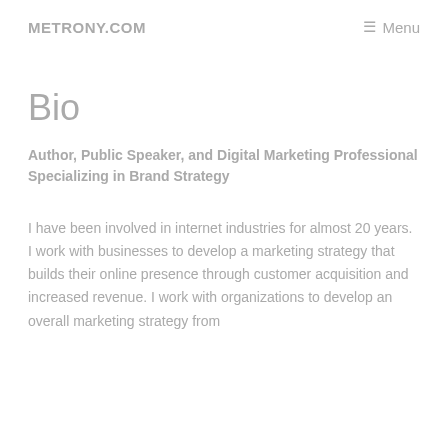METRONY.COM   ☰ Menu
Bio
Author, Public Speaker, and Digital Marketing Professional Specializing in Brand Strategy
I have been involved in internet industries for almost 20 years. I work with businesses to develop a marketing strategy that builds their online presence through customer acquisition and increased revenue. I work with organizations to develop an overall marketing strategy from